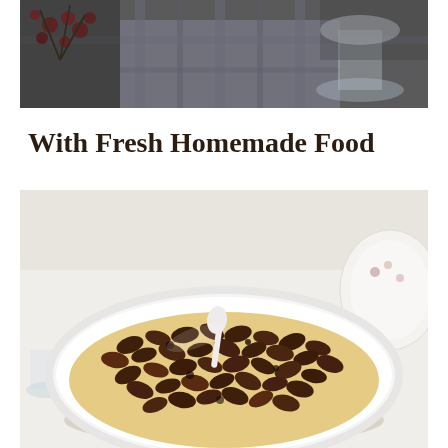[Figure (photo): Top portion of a holiday table setting photo showing red berries, a plaid cloth, and a glass, partially cropped at top of page]
With Fresh Homemade Food
[Figure (photo): A white bowl filled with candied pecans or roasted nuts with dark coating, placed on a white tablecloth with floral plates visible in background]